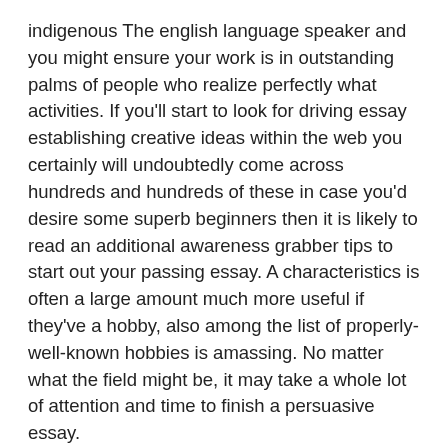indigenous The english language speaker and you might ensure your work is in outstanding palms of people who realize perfectly what activities. If you'll start to look for driving essay establishing creative ideas within the web you certainly will undoubtedly come across hundreds and hundreds of these in case you'd desire some superb beginners then it is likely to read an additional awareness grabber tips to start out your passing essay. A characteristics is often a large amount much more useful if they've a hobby, also among the list of properly-well-known hobbies is amassing. No matter what the field might be, it may take a whole lot of attention and time to finish a persuasive essay.
An internet proofreading course could be the wonderful way into the topic. Just producing your